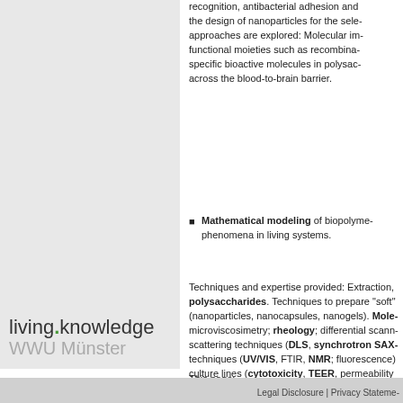recognition, antibacterial adhesion and the design of nanoparticles for the selective approaches are explored: Molecular im- functional moieties such as recombina- specific bioactive molecules in polysac- across the blood-to-brain barrier.
Mathematical modeling of biopolyme- phenomena in living systems.
Techniques and expertise provided: Extraction, polysaccharides. Techniques to prepare "soft" (nanoparticles, nanocapsules, nanogels). Mole- microviscosimetry; rheology; differential scann- scattering techniques (DLS, synchrotron SAX- techniques (UV/VIS, FTIR, NMR; fluorescence) culture lines (cytotoxicity, TEER, permeability collaboration with Prof. Bruno M. Moerschba-
This page:
[Figure (logo): living.knowledge WWU Münster logo]
Legal Disclosure | Privacy Stateme-